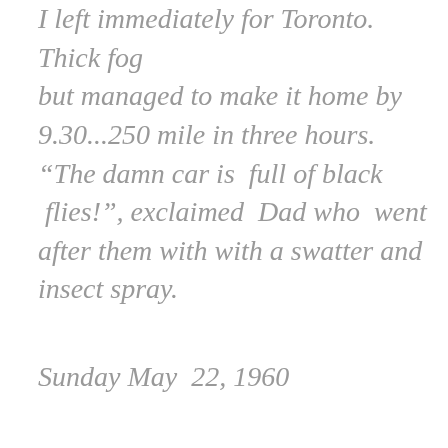I left immediately for Toronto. Thick fog but managed to make it home by 9.30...250 mile in three hours. “The damn car is  full of black  flies!”, exclaimed  Dad who  went after them with with a swatter and insect spray.
Sunday May  22, 1960